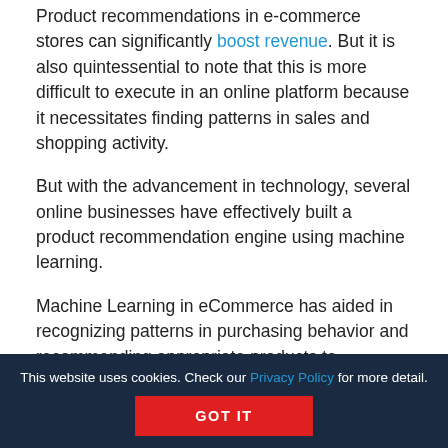Product recommendations in e-commerce stores can significantly boost revenue. But it is also quintessential to note that this is more difficult to execute in an online platform because it necessitates finding patterns in sales and shopping activity.
But with the advancement in technology, several online businesses have effectively built a product recommendation engine using machine learning.
Machine Learning in eCommerce has aided in recognizing patterns in purchasing behavior and recommending appropriate products to
This website uses cookies. Check our Privacy Policy for more detail.